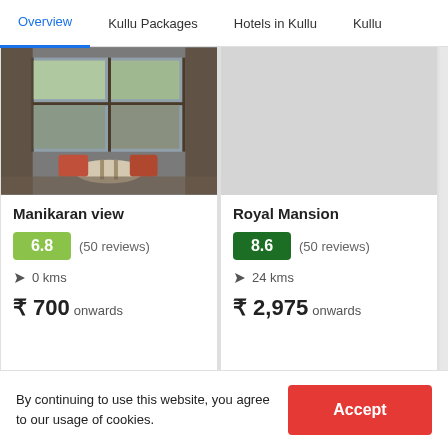Overview | Kullu Packages | Hotels in Kullu | Kullu
[Figure (photo): Interior hotel room photo with table, chairs, and window view]
Manikaran view
6.8 (50 reviews)
0 kms
₹ 700 onwards
Royal Mansion
8.6 (50 reviews)
24 kms
₹ 2,975 onwards
By continuing to use this website, you agree to our usage of cookies.